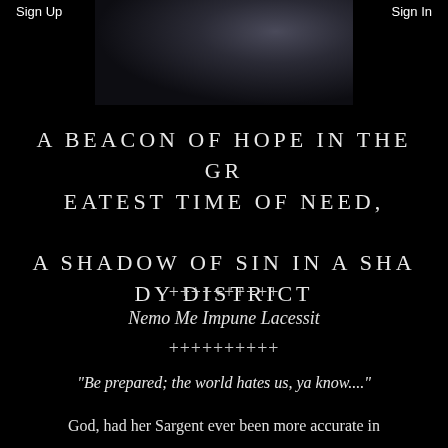Sign Up    Sign In
[Figure (photo): Dark moody photo of a figure, partially visible, dark tones of grey and black]
A BEACON OF HOPE IN THE GREATEST TIME OF NEED, A SHADOW OF SIN IN A SHADY DISTRICT
++++++++++
Nemo Me Impune Lacessit
++++++++++
"Be prepared; the world hates us, ya know...."
God, had her Sargent ever been more accurate in